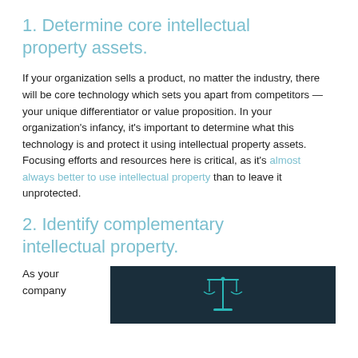1. Determine core intellectual property assets.
If your organization sells a product, no matter the industry, there will be core technology which sets you apart from competitors — your unique differentiator or value proposition. In your organization's infancy, it's important to determine what this technology is and protect it using intellectual property assets. Focusing efforts and resources here is critical, as it's almost always better to use intellectual property than to leave it unprotected.
2. Identify complementary intellectual property.
As your company
[Figure (illustration): Dark teal/navy background image showing a teal balance-of-justice scales icon in the center, representing legal or intellectual property themes.]